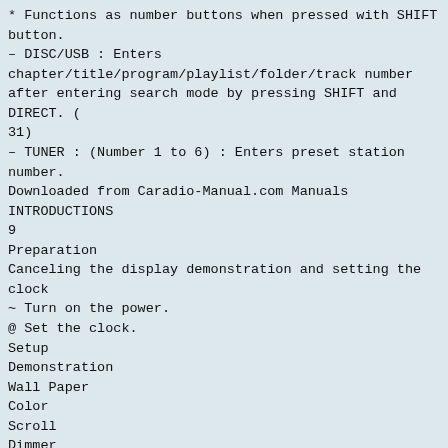* Functions as number buttons when pressed with SHIFT button.
– DISC/USB : Enters chapter/title/program/playlist/folder/track number after entering search mode by pressing SHIFT and DIRECT. (
31)
– TUNER : (Number 1 to 6) : Enters preset station number.
Downloaded from Caradio-Manual.com Manuals
INTRODUCTIONS
9
Preparation
Canceling the display demonstration and setting the clock
~ Turn on the power.
@ Set the clock.
Setup
Demonstration
Wall Paper
Color
Scroll
Dimmer
Ÿ Display <AV Menu> screen.
Bright
Blue
Once
Auto
6 PM
Dimmer Time Set
Auto
7 AM
Back
Setup